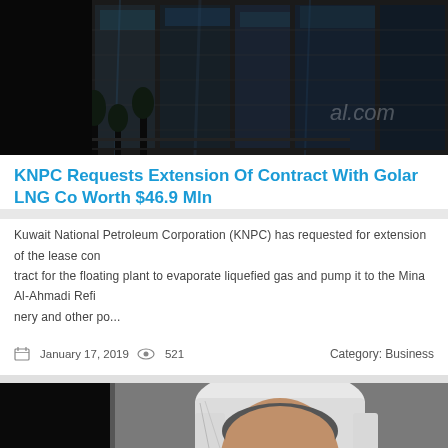[Figure (photo): Aerial/exterior view of a modern glass building at night or dusk with dark tones. Watermark text 'al.com' visible on right side.]
KNPC Requests Extension Of Contract With Golar LNG Co Worth $46.9 Mln
Kuwait National Petroleum Corporation (KNPC) has requested for extension of the lease contract for the floating plant to evaporate liquefied gas and pump it to the Mina Al-Ahmadi Refinery and other po...
January 17, 2019   521   Category: Business
[Figure (photo): Portrait photo of an Arab man wearing traditional white keffiyeh headdress, smiling, in a dark background.]